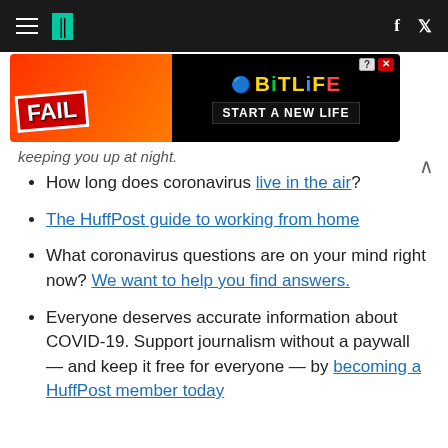HuffPost navigation bar with hamburger menu, logo, Facebook and Twitter icons
[Figure (photo): BitLife advertisement banner: 'FAIL' text with cartoon character, flames, and 'START A NEW LIFE' tagline]
keeping you up at night.
How long does coronavirus live in the air?
The HuffPost guide to working from home
What coronavirus questions are on your mind right now? We want to help you find answers.
Everyone deserves accurate information about COVID-19. Support journalism without a paywall — and keep it free for everyone — by becoming a HuffPost member today